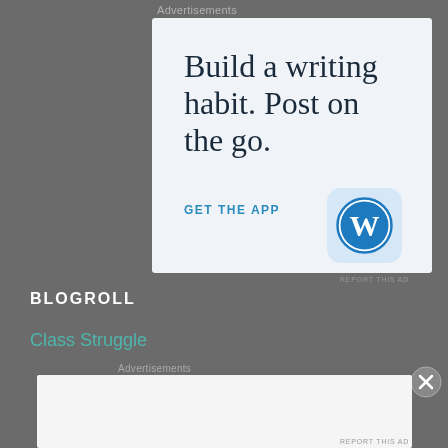Advertisements
[Figure (screenshot): WordPress app advertisement with large serif text reading 'Build a writing habit. Post on the go.' and a 'GET THE APP' call-to-action with the WordPress logo icon on a light blue-white background.]
REPORT THIS AD
BLOGROLL
Class Struggle
Advertisements
[Figure (screenshot): Automattic advertisement panel showing 'AUTOMATTIC' logo and tagline 'Build a better web and a better world.']
REPORT THIS AD